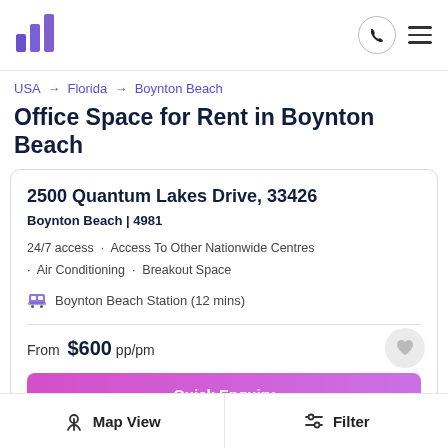Logo, phone icon, hamburger menu
USA → Florida → Boynton Beach
Office Space for Rent in Boynton Beach
2500 Quantum Lakes Drive, 33426
Boynton Beach | 4981
24/7 access · Access To Other Nationwide Centres · Air Conditioning · Breakout Space
Boynton Beach Station (12 mins)
From $600 pp/pm
Quick Enquiry
Map View
Filter